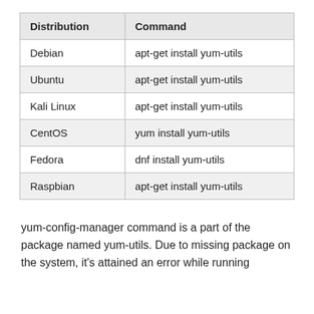| Distribution | Command |
| --- | --- |
| Debian | apt-get install yum-utils |
| Ubuntu | apt-get install yum-utils |
| Kali Linux | apt-get install yum-utils |
| CentOS | yum install yum-utils |
| Fedora | dnf install yum-utils |
| Raspbian | apt-get install yum-utils |
yum-config-manager command is a part of the package named yum-utils. Due to missing package on the system, it's attained an error while running